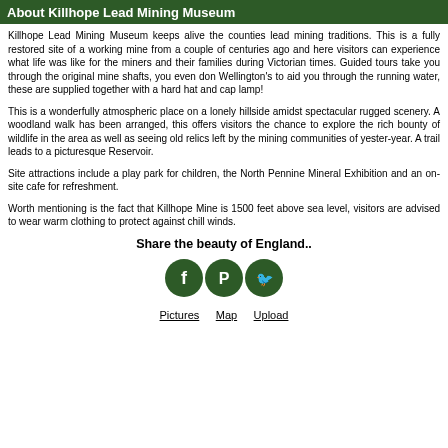About Killhope Lead Mining Museum
Killhope Lead Mining Museum keeps alive the counties lead mining traditions. This is a fully restored site of a working mine from a couple of centuries ago and here visitors can experience what life was like for the miners and their families during Victorian times. Guided tours take you through the original mine shafts, you even don Wellington's to aid you through the running water, these are supplied together with a hard hat and cap lamp!
This is a wonderfully atmospheric place on a lonely hillside amidst spectacular rugged scenery. A woodland walk has been arranged, this offers visitors the chance to explore the rich bounty of wildlife in the area as well as seeing old relics left by the mining communities of yester-year. A trail leads to a picturesque Reservoir.
Site attractions include a play park for children, the North Pennine Mineral Exhibition and an on-site cafe for refreshment.
Worth mentioning is the fact that Killhope Mine is 1500 feet above sea level, visitors are advised to wear warm clothing to protect against chill winds.
Share the beauty of England..
[Figure (illustration): Three social media icons: Facebook (f), Pinterest (P), Twitter (bird) in dark green circles]
Pictures   Map   Upload